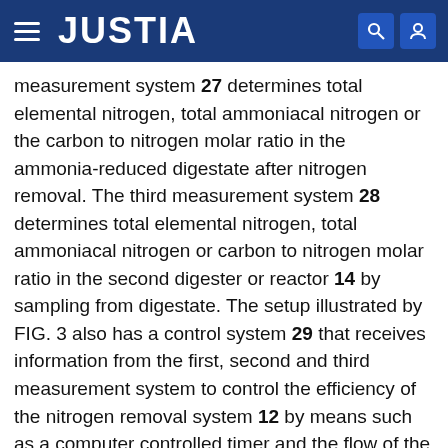JUSTIA
measurement system 27 determines total elemental nitrogen, total ammoniacal nitrogen or the carbon to nitrogen molar ratio in the ammonia-reduced digestate after nitrogen removal. The third measurement system 28 determines total elemental nitrogen, total ammoniacal nitrogen or carbon to nitrogen molar ratio in the second digester or reactor 14 by sampling from digestate. The setup illustrated by FIG. 3 also has a control system 29 that receives information from the first, second and third measurement system to control the efficiency of the nitrogen removal system 12 by means such as a computer controlled timer and the flow of the digestate into the second digester or reactor 14 by means such as a computer controlled valve or pump. Control is conducted based on predetermined limits for the nitrogen status within the second digester or reactor 14. The control system 29 also controls flow of